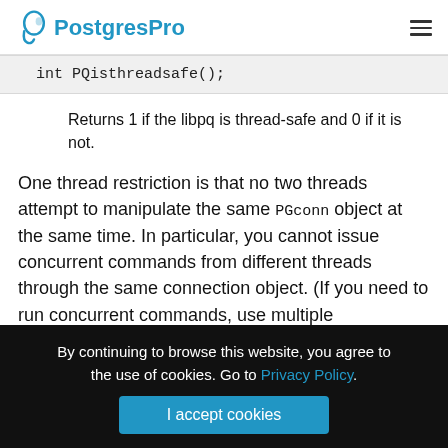PostgresPro
int PQisthreadsafe();
Returns 1 if the libpq is thread-safe and 0 if it is not.
One thread restriction is that no two threads attempt to manipulate the same PGconn object at the same time. In particular, you cannot issue concurrent commands from different threads through the same connection object. (If you need to run concurrent commands, use multiple connections.)
By continuing to browse this website, you agree to the use of cookies. Go to Privacy Policy.